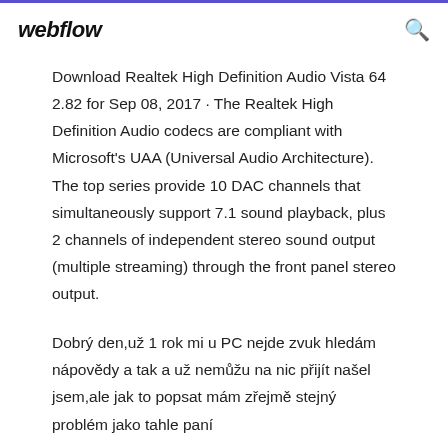webflow
Download Realtek High Definition Audio Vista 64 2.82 for Sep 08, 2017 · The Realtek High Definition Audio codecs are compliant with Microsoft's UAA (Universal Audio Architecture). The top series provide 10 DAC channels that simultaneously support 7.1 sound playback, plus 2 channels of independent stereo sound output (multiple streaming) through the front panel stereo output.
Dobrý den,už 1 rok mi u PC nejde zvuk hledám nápovědy a tak a už nemůžu na nic přijít našel jsem,ale jak to popsat mám zřejmě stejný problém jako tahle paní